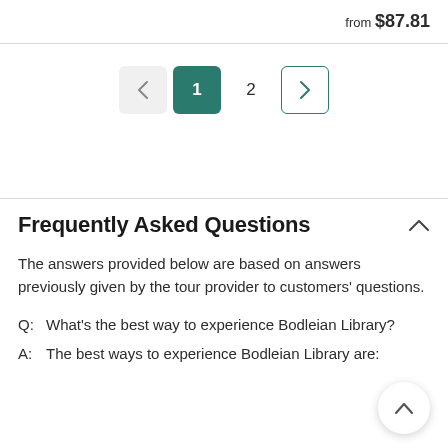from $87.81
[Figure (other): Pagination navigation showing left arrow (previous), page 1 (active/selected in teal), page 2, and right arrow (next)]
Frequently Asked Questions
The answers provided below are based on answers previously given by the tour provider to customers' questions.
Q:  What’s the best way to experience Bodleian Library?
A:  The best ways to experience Bodleian Library are: